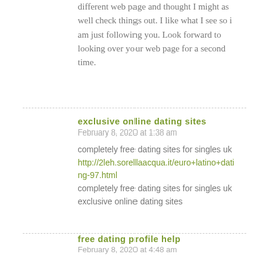different web page and thought I might as well check things out. I like what I see so i am just following you. Look forward to looking over your web page for a second time.
exclusive online dating sites
February 8, 2020 at 1:38 am
completely free dating sites for singles uk http://2leh.sorellaacqua.it/euro+latino+dating-97.html completely free dating sites for singles uk exclusive online dating sites
free dating profile help
February 8, 2020 at 4:48 am